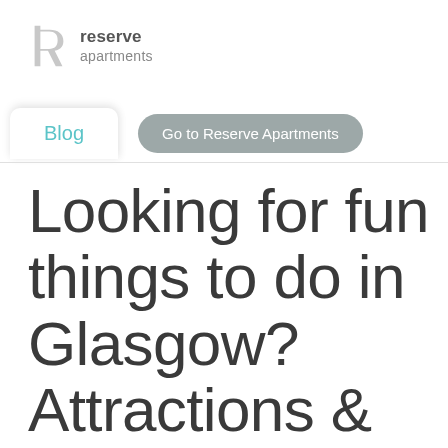[Figure (logo): Reserve Apartments logo — stylized grey letter R with bold 'reserve' and lighter 'apartments' text beside it]
Blog | Go to Reserve Apartments
Looking for fun things to do in Glasgow? Attractions & Free Activities